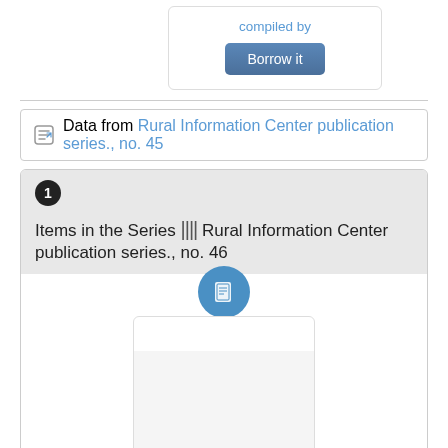compiled by
Borrow it
Data from Rural Information Center publication series., no. 45
1 Items in the Series ||| Rural Information Center publication series., no. 46
[Figure (illustration): Book icon in blue circle above a book card]
Volunteerism, compiled by Joshua Achipa